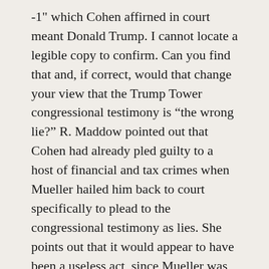-1" which Cohen affirned in court meant Donald Trump. I cannot locate a legible copy to confirm. Can you find that and, if correct, would that change your view that the Trump Tower congressional testimony is “the wrong lie?” R. Maddow pointed out that Cohen had already pled guilty to a host of financial and tax crimes when Mueller hailed him back to court specifically to plead to the congressional testimony as lies. She points out that it would appear to have been a useless act, since Mueller was recommending no additional jail time, unless to set a predicate for later charges of suborning the deception.
Comments?